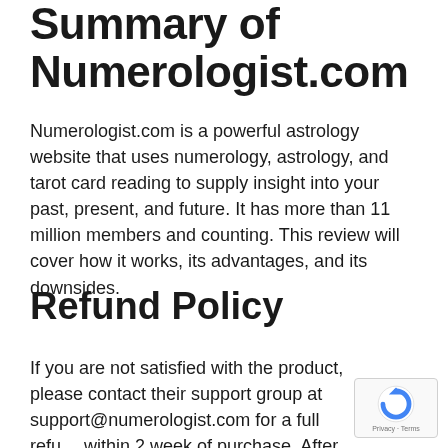Summary of Numerologist.com
Numerologist.com is a powerful astrology website that uses numerology, astrology, and tarot card reading to supply insight into your past, present, and future. It has more than 11 million members and counting. This review will cover how it works, its advantages, and its downsides.
Refund Policy
If you are not satisfied with the product, please contact their support group at support@numerologist.com for a full refund within 2 week of purchase. After the 14-day duration, no refunds will be released.